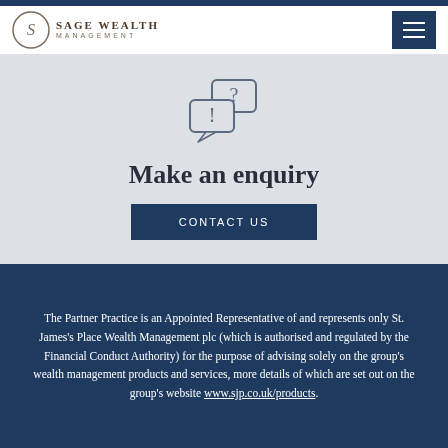SAGE WEALTH MANAGEMENT
[Figure (illustration): Two speech bubbles icon — one with a question mark, one with an exclamation mark]
Make an enquiry
CONTACT US
The Partner Practice is an Appointed Representative of and represents only St. James's Place Wealth Management plc (which is authorised and regulated by the Financial Conduct Authority) for the purpose of advising solely on the group's wealth management products and services, more details of which are set out on the group's website www.sjp.co.uk/products.